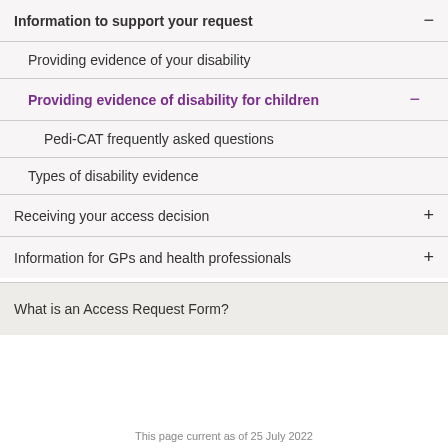Information to support your request
Providing evidence of your disability
Providing evidence of disability for children
Pedi-CAT frequently asked questions
Types of disability evidence
Receiving your access decision
Information for GPs and health professionals
What is an Access Request Form?
This page current as of 25 July 2022